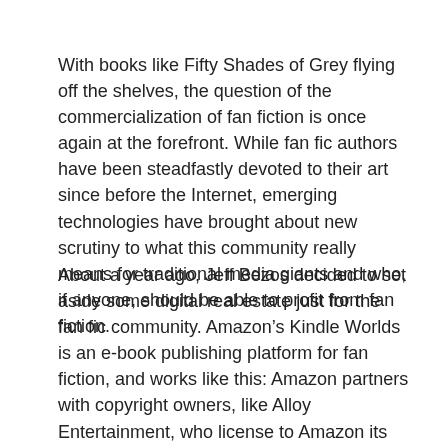With books like Fifty Shades of Grey flying off the shelves, the question of the commercialization of fan fiction is once again at the forefront. While fan fic authors have been steadfastly devoted to their art since before the Internet, emerging technologies have brought about new scrutiny to what this community really means for traditional media giants and who, if anyone, should be able to profit from fan fiction.
About a year ago, Jeff Bezos decided to set aside some digital real estate just for the fan fic community. Amazon's Kindle Worlds is an e-book publishing platform for fan fiction, and works like this: Amazon partners with copyright owners, like Alloy Entertainment, who license to Amazon its fan fiction publication rights. These licensors are known as “World Licensors,” and